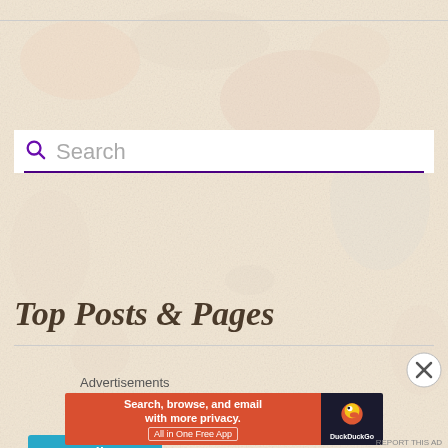[Figure (screenshot): Search bar with magnifying glass icon and placeholder text 'Search', with a purple underline border]
[Figure (other): Teal/cyan button with WordPress icon reading 'Follow What's Cooking at the Genua's?']
Top Posts & Pages
Advertisements
[Figure (other): DuckDuckGo advertisement banner: 'Search, browse, and email with more privacy. All in One Free App' with DuckDuckGo logo on dark right panel]